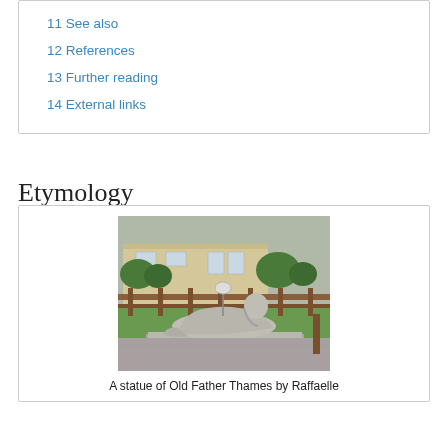11 See also
12 References
13 Further reading
14 External links
Etymology
[Figure (photo): A statue of Old Father Thames by Raffaelle, reclining on a stone plinth, set outdoors in a garden area with wooden fencing and a building in the background.]
A statue of Old Father Thames by Raffaelle